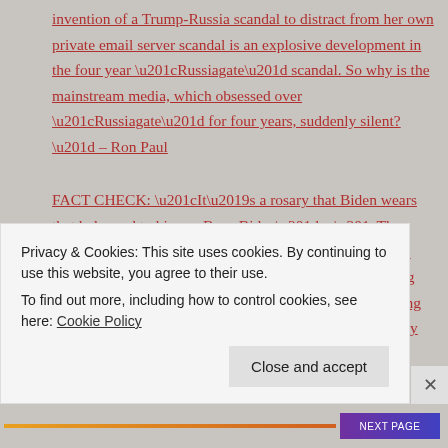invention of a Trump-Russia scandal to distract from her own private email server scandal is an explosive development in the four year “Russiagate” scandal. So why is the mainstream media, which obsessed over “Russiagate” for four years, suddenly silent?” – Ron Paul
FACT CHECK: “It’s a rosary that Biden wears that belonged to his son Beau Biden” – “The Biden campaign and media’s main emphasis was to squash the wrist object as quickly as possible, by directing people’s attention to the interview with Biden talking about his dead son’s rosary, so as to put a lid on it by shaming and guilting people. If there is one tactic
Privacy & Cookies: This site uses cookies. By continuing to use this website, you agree to their use.
To find out more, including how to control cookies, see here: Cookie Policy